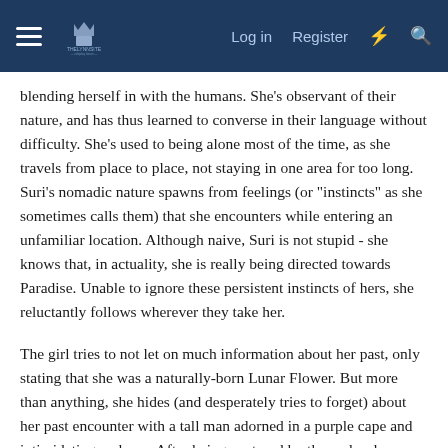Log in  Register
blending herself in with the humans. She's observant of their nature, and has thus learned to converse in their language without difficulty. She's used to being alone most of the time, as she travels from place to place, not staying in one area for too long. Suri's nomadic nature spawns from feelings (or "instincts" as she sometimes calls them) that she encounters while entering an unfamiliar location. Although naive, Suri is not stupid - she knows that, in actuality, she is really being directed towards Paradise. Unable to ignore these persistent instincts of hers, she reluctantly follows wherever they take her.
The girl tries to not let on much information about her past, only stating that she was a naturally-born Lunar Flower. But more than anything, she hides (and desperately tries to forget) about her past encounter with a tall man adorned in a purple cape and intimidating makeup. After being captured by the male, she was cruelly experimented on for his own gain. Luckily, Suri was soon able to escape from the Noble, but she still carries a deep fear of the masked man, and areas with no source of light seem to trigger past memories